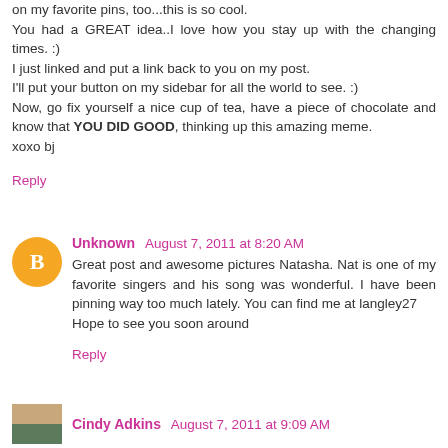on my favorite pins, too...this is so cool.
You had a GREAT idea..I love how you stay up with the changing times. :)
I just linked and put a link back to you on my post.
I'll put your button on my sidebar for all the world to see. :)
Now, go fix yourself a nice cup of tea, have a piece of chocolate and know that YOU DID GOOD, thinking up this amazing meme.
xoxo bj
Reply
Unknown  August 7, 2011 at 8:20 AM
Great post and awesome pictures Natasha. Nat is one of my favorite singers and his song was wonderful. I have been pinning way too much lately. You can find me at langley27
Hope to see you soon around
Reply
Cindy Adkins  August 7, 2011 at 9:09 AM